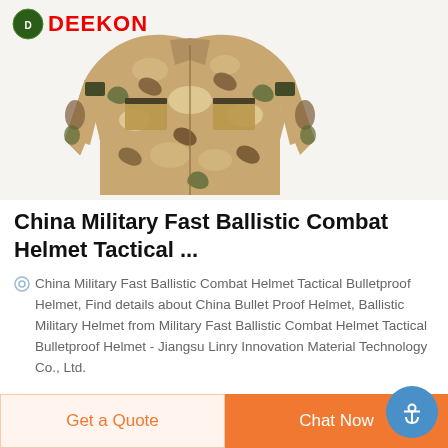[Figure (photo): Camouflage military combat jacket/uniform laid flat showing front with chest pockets and shoulder patches, woodland/digital camouflage pattern in tan, brown, green colors]
China Military Fast Ballistic Combat Helmet Tactical ...
China Military Fast Ballistic Combat Helmet Tactical Bulletproof Helmet, Find details about China Bullet Proof Helmet, Ballistic Military Helmet from Military Fast Ballistic Combat Helmet Tactical Bulletproof Helmet - Jiangsu Linry Innovation Material Technology Co., Ltd.
Get a Quote   Chat Now